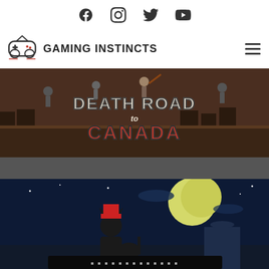Social media icons: Facebook, Instagram, Twitter, YouTube
[Figure (logo): Gaming Instincts logo with gamepad icon and text 'GAMING INSTINCTS']
[Figure (screenshot): Death Road to Canada game banner with zombie apocalypse scene and game title text]
[Figure (screenshot): Second game image showing a dark night scene with a character under a full moon]